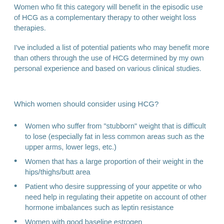Women who fit this category will benefit in the episodic use of HCG as a complementary therapy to other weight loss therapies.
I've included a list of potential patients who may benefit more than others through the use of HCG determined by my own personal experience and based on various clinical studies.
Which women should consider using HCG?
Women who suffer from "stubborn" weight that is difficult to lose (especially fat in less common areas such as the upper arms, lower legs, etc.)
Women that has a large proportion of their weight in the hips/thighs/butt area
Patient who desire suppressing of your appetite or who need help in regulating their appetite on account of other hormone imbalances such as leptin resistance
Women with good baseline estrogen